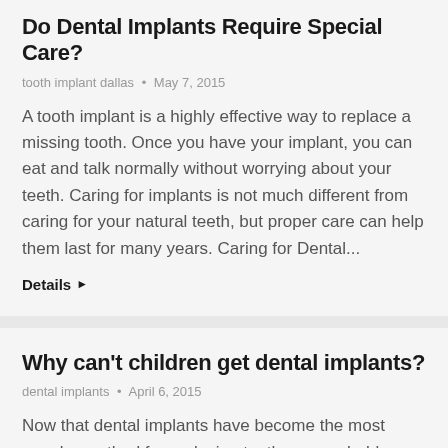Do Dental Implants Require Special Care?
tooth implant dallas • May 7, 2015
A tooth implant is a highly effective way to replace a missing tooth. Once you have your implant, you can eat and talk normally without worrying about your teeth. Caring for implants is not much different from caring for your natural teeth, but proper care can help them last for many years. Caring for Dental...
Details ▶
Why can't children get dental implants?
dental implants • April 6, 2015
Now that dental implants have become the most popular method for replacing teeth, you probably have some questions about how they benefit oral health and who is a candidate for receiving them. Dental